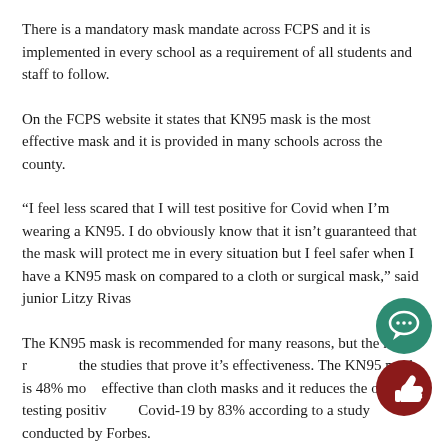There is a mandatory mask mandate across FCPS and it is implemented in every school as a requirement of all students and staff to follow.
On the FCPS website it states that KN95 mask is the most effective mask and it is provided in many schools across the county.
“I feel less scared that I will test positive for Covid when I’m wearing a KN95. I do obviously know that it isn’t guaranteed that the mask will protect me in every situation but I feel safer when I have a KN95 mask on compared to a cloth or surgical mask,” said junior Litzy Rivas
The KN95 mask is recommended for many reasons, but the main reason is the studies that prove it’s effectiveness. The KN95 mask is 48% more effective than cloth masks and it reduces the odds of testing positive for Covid-19 by 83% according to a study conducted by Forbes.
[Figure (illustration): Two circular icon buttons overlapping in the bottom-right corner: a teal/green speech bubble comment icon on top and a dark red thumbs-up icon below.]